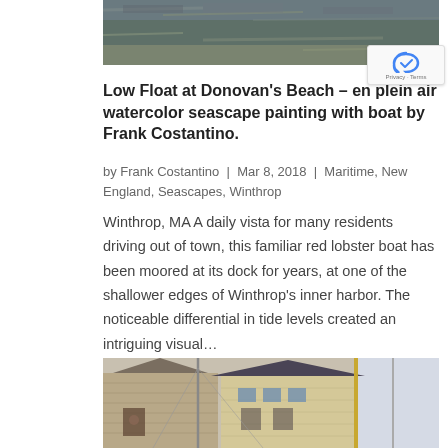[Figure (photo): Top portion of a watercolor seascape painting showing water and rocky shoreline with muted blue-green and brown tones]
Low Float at Donovan’s Beach – en plein air watercolor seascape painting with boat by Frank Costantino.
by Frank Costantino | Mar 8, 2018 | Maritime, New England, Seascapes, Winthrop
Winthrop, MA A daily vista for many residents driving out of town, this familiar red lobster boat has been moored at its dock for years, at one of the shallower edges of Winthrop’s inner harbor. The noticeable differential in tide levels created an intriguing visual…
[Figure (photo): Bottom portion of a watercolor painting showing buildings and boat masts in a harbor scene with houses and sky]